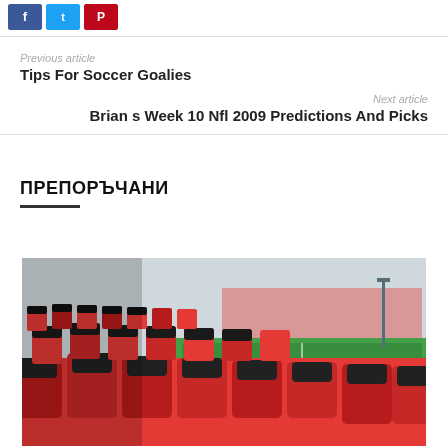[Figure (other): Social media share buttons: Facebook (blue), Twitter (light blue), Pinterest (red)]
Previous article
Tips For Soccer Goalies
Next article
Brian s Week 10 Nfl 2009 Predictions And Picks
ПРЕПОРЪЧАНИ
[Figure (photo): Photo of red and black stadium seats in a soccer stadium with a green football pitch visible in the background]